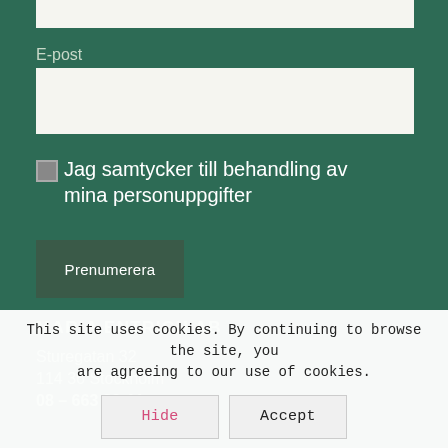E-post
Jag samtycker till behandling av mina personuppgifter
Prenumerera
MARIA ENTRICH AB
Sturegatan 32
114 36 Stockholm
08 – 663 82 44
This site uses cookies. By continuing to browse the site, you are agreeing to our use of cookies.
Hide
Accept